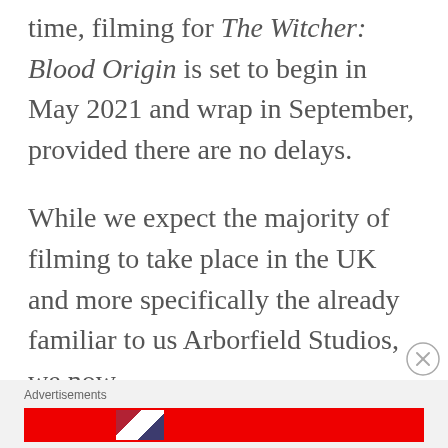time, filming for The Witcher: Blood Origin is set to begin in May 2021 and wrap in September, provided there are no delays.
While we expect the majority of filming to take place in the UK and more specifically the already familiar to us Arborfield Studios, we now
Advertisements